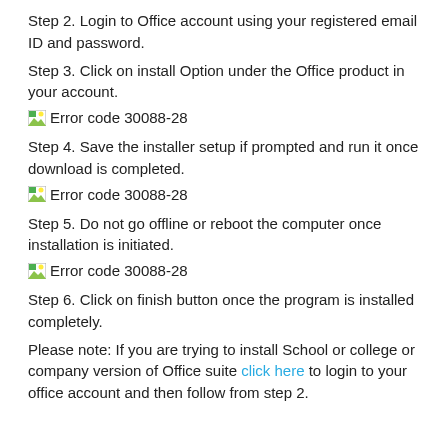Step 2. Login to Office account using your registered email ID and password.
Step 3. Click on install Option under the Office product in your account.
[Figure (illustration): Broken image placeholder icon followed by text 'Error code 30088-28']
Step 4. Save the installer setup if prompted and run it once download is completed.
[Figure (illustration): Broken image placeholder icon followed by text 'Error code 30088-28']
Step 5. Do not go offline or reboot the computer once installation is initiated.
[Figure (illustration): Broken image placeholder icon followed by text 'Error code 30088-28']
Step 6. Click on finish button once the program is installed completely.
Please note: If you are trying to install School or college or company version of Office suite click here to login to your office account and then follow from step 2.